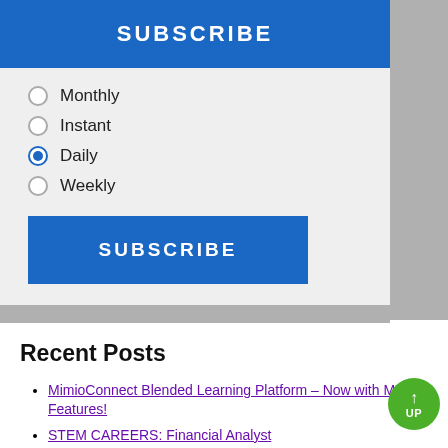SUBSCRIBE
Monthly
Instant
Daily
Weekly
SUBSCRIBE
Recent Posts
MimioConnect Blended Learning Platform – Now with More Features!
STEM CAREERS: Financial Analyst
STEM Lesson: Using Punnett Squares
Screen Mirroring to Innovate Teaching and Learning
Boxlight Solutions Win Multiple ISTELive 22 Best of Show